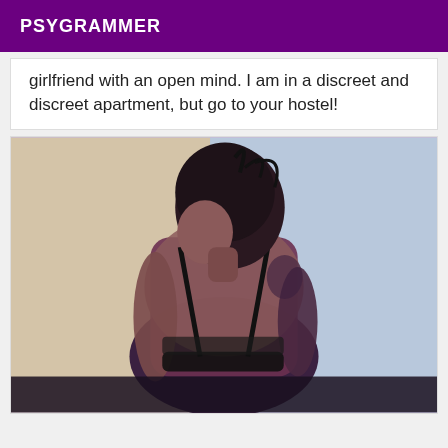PSYGRAMMER
girlfriend with an open mind. I am in a discreet and discreet apartment, but go to your hostel!
[Figure (photo): A woman seen from behind wearing a black lace bra, with dark hair, sitting against a light purple/blue background.]